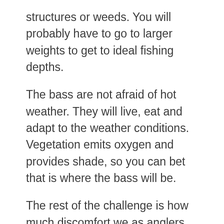structures or weeds. You will probably have to go to larger weights to get to ideal fishing depths.
The bass are not afraid of hot weather. They will live, eat and adapt to the weather conditions. Vegetation emits oxygen and provides shade, so you can bet that is where the bass will be.
The rest of the challenge is how much discomfort we as anglers will tolerate. Noel Coward wrote in 1931. “Only mad dogs and Englishmen go out in the noon day sun.” and it could well be true. I know this is one